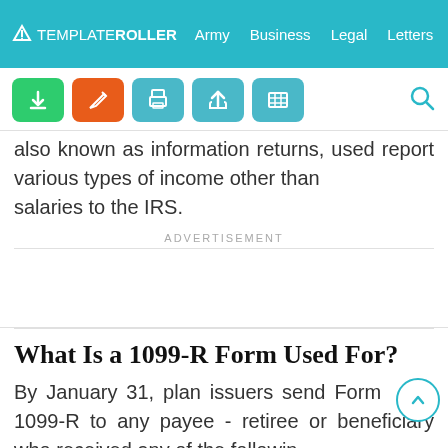TEMPLATEROLLER   Army   Business   Legal   Letters   Life
[Figure (screenshot): Toolbar with download (green), edit (orange), print (teal), share (teal), and table (teal) icon buttons, plus a search icon]
also known as information returns, used report various types of income other than salaries to the IRS.
ADVERTISEMENT
What Is a 1099-R Form Used For?
By January 31, plan issuers send Form 1099-R to any payee - retiree or beneficiary who received any of the following